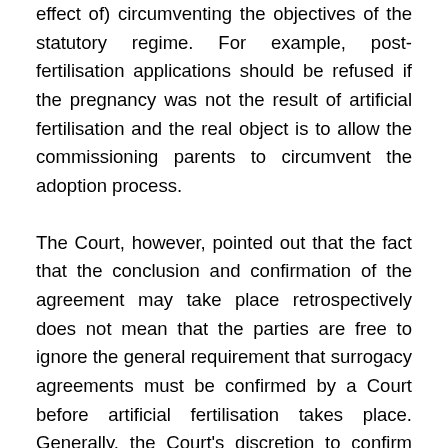effect of) circumventing the objectives of the statutory regime. For example, post-fertilisation applications should be refused if the pregnancy was not the result of artificial fertilisation and the real object is to allow the commissioning parents to circumvent the adoption process.
The Court, however, pointed out that the fact that the conclusion and confirmation of the agreement may take place retrospectively does not mean that the parties are free to ignore the general requirement that surrogacy agreements must be confirmed by a Court before artificial fertilisation takes place. Generally, the Court's discretion to confirm such agreements retrospectively will only be exercised in exceptional circumstances and when the best interests of the child demand confirmation. The window-period for such confirmation exists only during the period before the child is born. At birth, the child is deemed to be